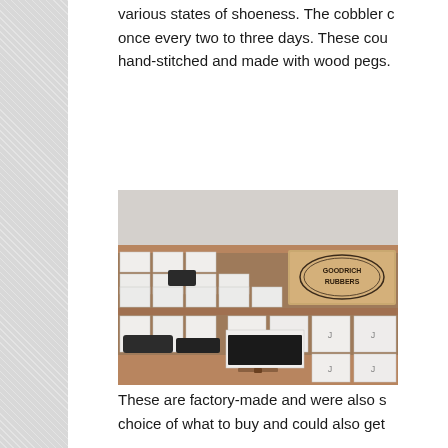various states of shoeness. The cobbler once every two to three days. These cou hand-stitched and made with wood pegs.
[Figure (photo): Interior photo of a shoe store or cobbler shop showing wooden shelving units filled with white shoe boxes arranged in rows and stacks. A wooden crate/box branded 'GOODRICH RUBBERS' is visible on the top right shelf. Black shoes and open boxes with dark shoes are visible on the lower shelves and counter.]
These are factory-made and were also s choice of what to buy and could also get